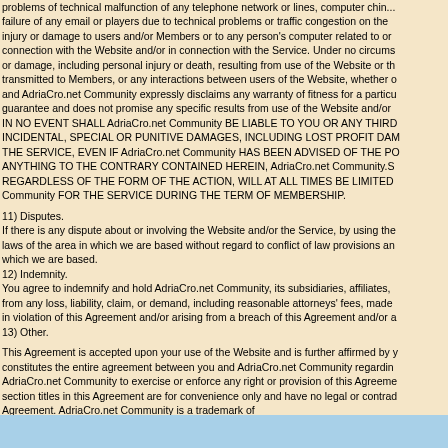problems of technical malfunction of any telephone network or lines, computer chin... failure of any email or players due to technical problems or traffic congestion on the injury or damage to users and/or Members or to any person's computer related to or connection with the Website and/or in connection with the Service. Under no circums or damage, including personal injury or death, resulting from use of the Website or th transmitted to Members, or any interactions between users of the Website, whether o and AdriaCro.net Community expressly disclaims any warranty of fitness for a particu guarantee and does not promise any specific results from use of the Website and/or IN NO EVENT SHALL AdriaCro.net Community BE LIABLE TO YOU OR ANY THIRD INCIDENTAL, SPECIAL OR PUNITIVE DAMAGES, INCLUDING LOST PROFIT DAM THE SERVICE, EVEN IF AdriaCro.net Community HAS BEEN ADVISED OF THE PO ANYTHING TO THE CONTRARY CONTAINED HEREIN, AdriaCro.net Community.S REGARDLESS OF THE FORM OF THE ACTION, WILL AT ALL TIMES BE LIMITED Community FOR THE SERVICE DURING THE TERM OF MEMBERSHIP.
11) Disputes.
If there is any dispute about or involving the Website and/or the Service, by using the laws of the area in which we are based without regard to conflict of law provisions an which we are based.
12) Indemnity.
You agree to indemnify and hold AdriaCro.net Community, its subsidiaries, affiliates, from any loss, liability, claim, or demand, including reasonable attorneys' fees, made in violation of this Agreement and/or arising from a breach of this Agreement and/or a
13) Other.
This Agreement is accepted upon your use of the Website and is further affirmed by y constitutes the entire agreement between you and AdriaCro.net Community regardin AdriaCro.net Community to exercise or enforce any right or provision of this Agreeme section titles in this Agreement are for convenience only and have no legal or contrad Agreement. AdriaCro.net Community is a trademark of
. I HAVE READ THIS AGREEMENT AND AGREE TO ALL OF THE PROVISIONS CO